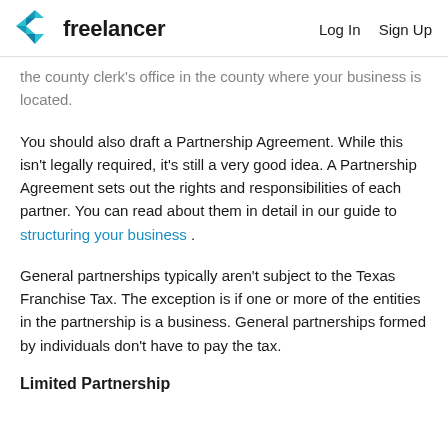freelancer  Log In  Sign Up
the county clerk's office in the county where your business is located.
You should also draft a Partnership Agreement. While this isn't legally required, it's still a very good idea. A Partnership Agreement sets out the rights and responsibilities of each partner. You can read about them in detail in our guide to structuring your business .
General partnerships typically aren't subject to the Texas Franchise Tax. The exception is if one or more of the entities in the partnership is a business. General partnerships formed by individuals don't have to pay the tax.
Limited Partnership